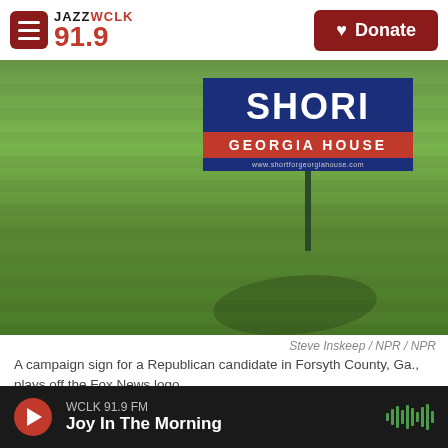JAZZ WCLK 91.9 | Donate
[Figure (photo): A campaign yard sign reading 'SHORT / GEORGIA HOUSE' in front of a grassy lawn, with a shadow cast on the ground.]
Steve Inskeep / NPR / NPR
A campaign sign for a Republican candidate in Forsyth County, Ga., plays off the Fox News logo.
Fox News host Tucker Carlson is a leading advocate of "replacement theory," an unfounded claim that Democrats are "replacing" current voters
WCLK 91.9 FM | Joy In The Morning